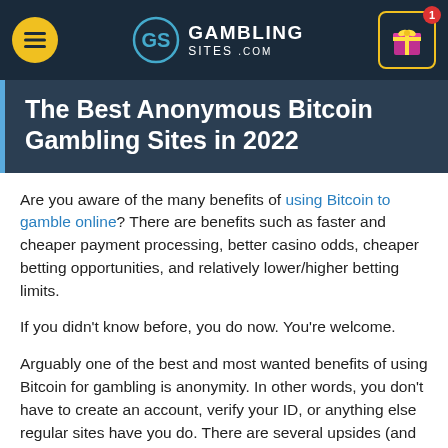GamblingS Sites.com — navigation header
The Best Anonymous Bitcoin Gambling Sites in 2022
Are you aware of the many benefits of using Bitcoin to gamble online? There are benefits such as faster and cheaper payment processing, better casino odds, cheaper betting opportunities, and relatively lower/higher betting limits.
If you didn't know before, you do now. You're welcome.
Arguably one of the best and most wanted benefits of using Bitcoin for gambling is anonymity. In other words, you don't have to create an account, verify your ID, or anything else regular sites have you do. There are several upsides (and downsides) to anonymity, which we cover later on.